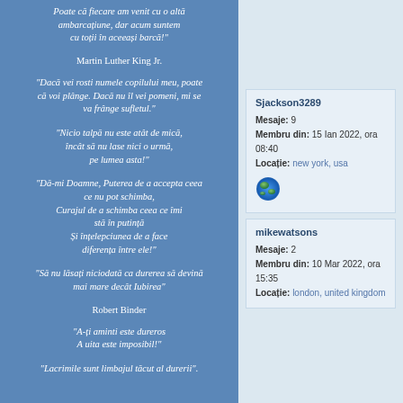Poate că fiecare am venit cu o altă ambarcațiune, dar acum suntem cu toții în aceeași barcă!"
Martin Luther King Jr.
"Dacă vei rosti numele copilului meu, poate că voi plânge. Dacă nu îl vei pomeni, mi se va frânge sufletul."
"Nicio talpă nu este atât de mică, încât să nu lase nici o urmă, pe lumea asta!"
"Dă-mi Doamne, Puterea de a accepta ceea ce nu pot schimba, Curajul de a schimba ceea ce îmi stă în putință Și înțelepciunea de a face diferența între ele!"
"Să nu lăsați niciodată ca durerea să devină mai mare decât Iubirea"
Robert Binder
"A-ți aminti este dureros A uita este imposibil!"
"Lacrimile sunt limbajul tăcut al durerii".
Sjackson3289
Mesaje: 9
Membru din: 15 Ian 2022, ora 08:40
Locație: new york, usa
mikewatsons
Mesaje: 2
Membru din: 10 Mar 2022, ora 15:35
Locație: london, united kingdom